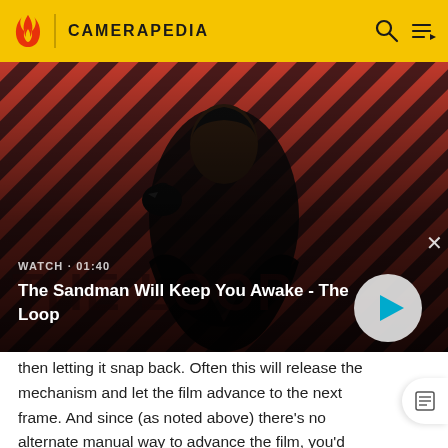CAMERAPEDIA
[Figure (screenshot): Video thumbnail for 'The Sandman Will Keep You Awake - The Loop' showing a dark-cloaked figure with a raven on shoulder against a red and black diagonal striped background. Overlay shows WATCH · 01:40 label and a play button.]
then letting it snap back. Often this will release the mechanism and let the film advance to the next frame. And since (as noted above) there's no alternate manual way to advance the film, you'd better hope this trick works!